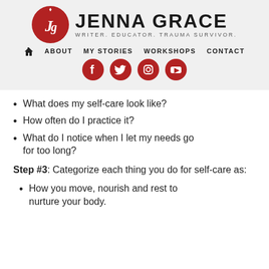[Figure (logo): Jenna Grace logo with red circle containing 'JG' monogram, brand name 'JENNA GRACE', tagline 'WRITER. EDUCATOR. TRAUMA SURVIVOR.']
ABOUT  MY STORIES  WORKSHOPS  CONTACT
[Figure (infographic): Four red circle social media icons: Facebook, Twitter, Instagram, YouTube]
What does my self-care look like?
How often do I practice it?
What do I notice when I let my needs go for too long?
Step #3: Categorize each thing you do for self-care as:
How you move, nourish and rest to nurture your body.